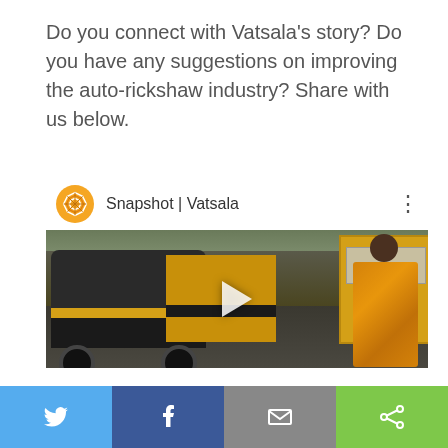Do you connect with Vatsala's story? Do you have any suggestions on improving the auto-rickshaw industry? Share with us below.
[Figure (screenshot): Embedded video thumbnail showing a YouTube-style video player for 'Snapshot | Vatsala'. The thumbnail shows a woman in an orange/yellow sari looking at her phone, with black and yellow auto-rickshaws in the background. The video header has a geometric logo and the title 'Snapshot | Vatsala' with a three-dot menu icon.]
[Figure (infographic): Social sharing bar at the bottom with four buttons: Twitter (blue bird icon), Facebook (dark blue 'f' icon), Email (grey envelope icon), and Share (green share icon).]